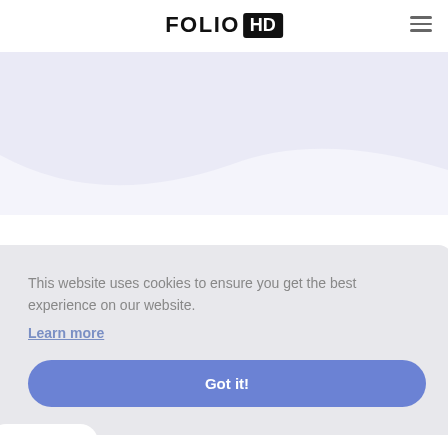[Figure (logo): FOLIO HD logo — FOLIO in bold black text, HD in white on black rectangle]
[Figure (illustration): Hamburger menu icon (three horizontal lines) in top right corner]
[Figure (illustration): Light blue/lavender wave hero background shape]
This website uses cookies to ensure you get the best experience on our website.
Learn more
Got it!